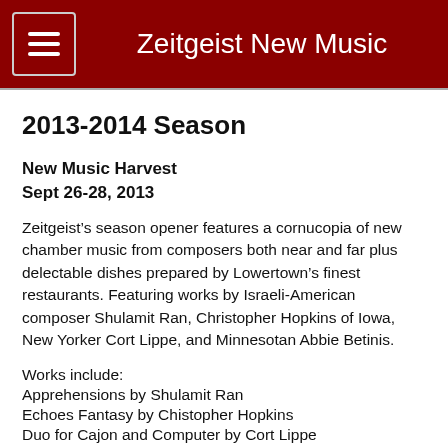Zeitgeist New Music
2013-2014 Season
New Music Harvest
Sept 26-28, 2013
Zeitgeist’s season opener features a cornucopia of new chamber music from composers both near and far plus delectable dishes prepared by Lowertown’s finest restaurants. Featuring works by Israeli-American composer Shulamit Ran, Christopher Hopkins of Iowa, New Yorker Cort Lippe, and Minnesotan Abbie Betinis.
Works include:
Apprehensions by Shulamit Ran
Echoes Fantasy by Chistopher Hopkins
Duo for Cajon and Computer by Cort Lippe
Natter... by Abbie Betinis